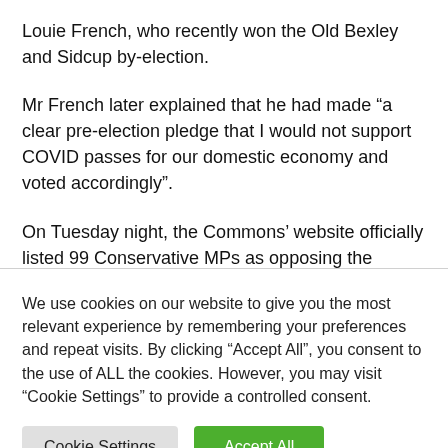Louie French, who recently won the Old Bexley and Sidcup by-election.
Mr French later explained that he had made “a clear pre-election pledge that I would not support COVID passes for our domestic economy and voted accordingly”.
On Tuesday night, the Commons’ website officially listed 99 Conservative MPs as opposing the government.
We use cookies on our website to give you the most relevant experience by remembering your preferences and repeat visits. By clicking “Accept All”, you consent to the use of ALL the cookies. However, you may visit “Cookie Settings” to provide a controlled consent.